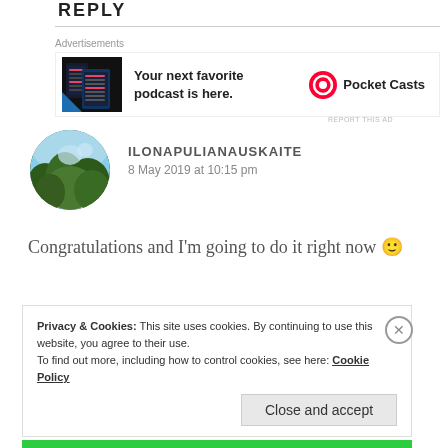REPLY
[Figure (screenshot): Advertisement for Pocket Casts podcast app showing app screenshots and logo with text 'Your next favorite podcast is here.']
REPORT THIS AD
[Figure (photo): Circular avatar photo of trees and sky viewed from below]
ILONAPULIANAUSKAITE
8 May 2019 at 10:15 pm
Congratulations and I'm going to do it right now 🙂
Privacy & Cookies: This site uses cookies. By continuing to use this website, you agree to their use.
To find out more, including how to control cookies, see here: Cookie Policy
Close and accept